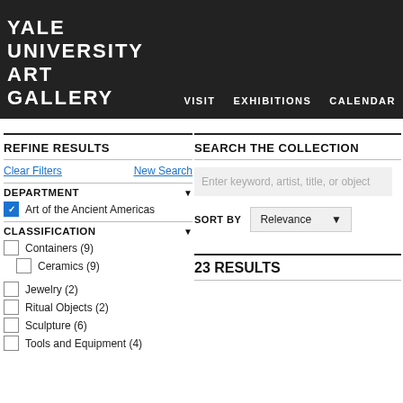YALE UNIVERSITY ART GALLERY
VISIT  EXHIBITIONS  CALENDAR
REFINE RESULTS
Clear Filters   New Search
DEPARTMENT
Art of the Ancient Americas (checked)
CLASSIFICATION
Containers (9)
Ceramics (9)
Jewelry (2)
Ritual Objects (2)
Sculpture (6)
Tools and Equipment (4)
SEARCH THE COLLECTION
Enter keyword, artist, title, or object
SORT BY  Relevance
23 RESULTS